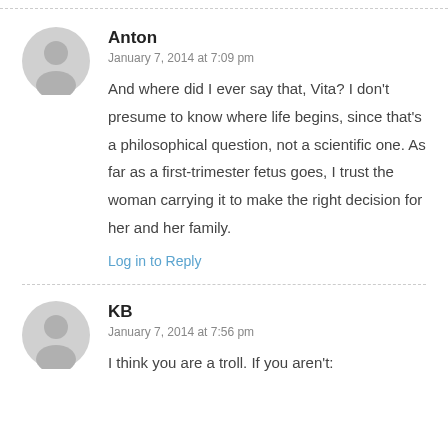Anton — January 7, 2014 at 7:09 pm
And where did I ever say that, Vita? I don't presume to know where life begins, since that's a philosophical question, not a scientific one. As far as a first-trimester fetus goes, I trust the woman carrying it to make the right decision for her and her family.
Log in to Reply
KB — January 7, 2014 at 7:56 pm
I think you are a troll. If you aren't: